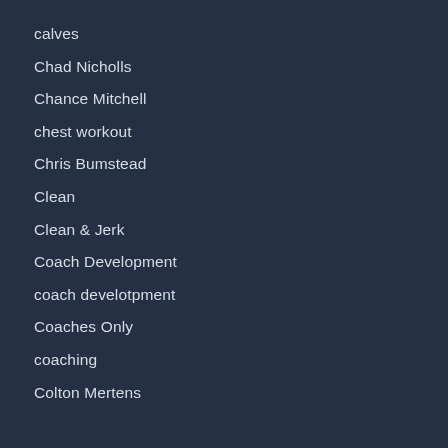calves
Chad Nicholls
Chance Mitchell
chest workout
Chris Bumstead
Clean
Clean & Jerk
Coach Development
coach develotpment
Coaches Only
coaching
Colton Mertens